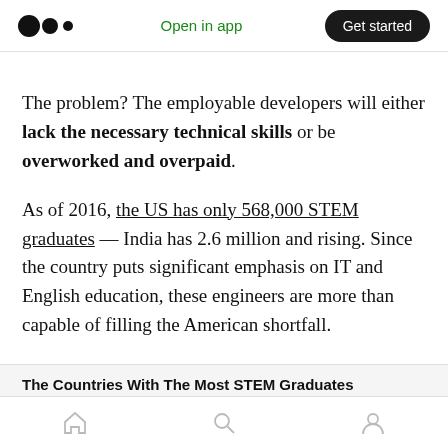Open in app | Get started
The problem? The employable developers will either lack the necessary technical skills or be overworked and overpaid.
As of 2016, the US has only 568,000 STEM graduates — India has 2.6 million and rising. Since the country puts significant emphasis on IT and English education, these engineers are more than capable of filling the American shortfall.
The Countries With The Most STEM Graduates
Home | Search | Profile